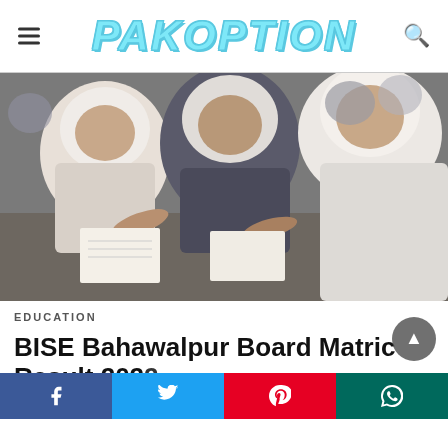PAKOPTION
[Figure (photo): Students wearing white hijabs writing in an exam hall, black and white/color photo]
EDUCATION
BISE Bahawalpur Board Matric Result 2022
BoardBahawalpur Class NameMatricExams Date 10 May 2022Board